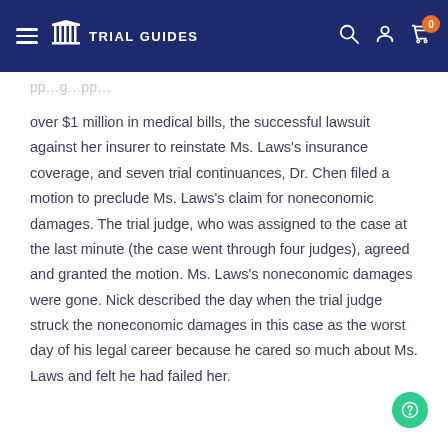Trial Guides — Navigation bar
over $1 million in medical bills, the successful lawsuit against her insurer to reinstate Ms. Laws's insurance coverage, and seven trial continuances, Dr. Chen filed a motion to preclude Ms. Laws's claim for noneconomic damages. The trial judge, who was assigned to the case at the last minute (the case went through four judges), agreed and granted the motion. Ms. Laws's noneconomic damages were gone. Nick described the day when the trial judge struck the noneconomic damages in this case as the worst day of his legal career because he cared so much about Ms. Laws and felt he had failed her.